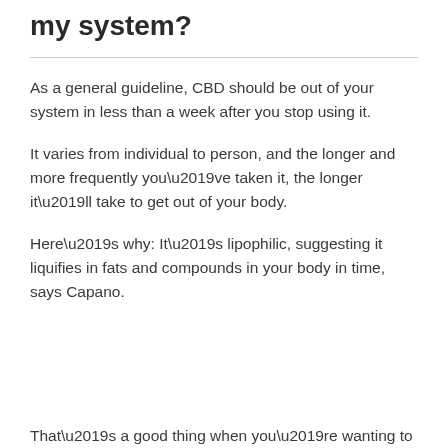my system?
As a general guideline, CBD should be out of your system in less than a week after you stop using it.
It varies from individual to person, and the longer and more frequently you’ve taken it, the longer it’ll take to get out of your body.
Here’s why: It’s lipophilic, suggesting it liquifies in fats and compounds in your body in time, says Capano.
That’s a good thing when you’re wanting to